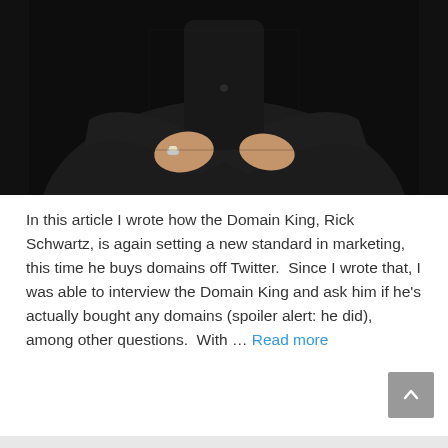[Figure (photo): A person in a dark patterned shirt with arms crossed, wearing a ring on their left hand, photographed against a dark background. Only the torso and hands are visible.]
In this article I wrote how the Domain King, Rick Schwartz, is again setting a new standard in marketing, this time he buys domains off Twitter.  Since I wrote that, I was able to interview the Domain King and ask him if he's actually bought any domains (spoiler alert: he did), among other questions.  With … Read more